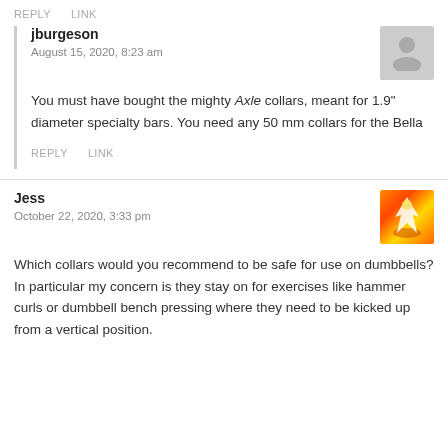REPLY   LINK
jburgeson
August 15, 2020, 8:23 am
You must have bought the mighty Axle collars, meant for 1.9" diameter specialty bars. You need any 50 mm collars for the Bella
REPLY   LINK
Jess
October 22, 2020, 3:33 pm
Which collars would you recommend to be safe for use on dumbbells? In particular my concern is they stay on for exercises like hammer curls or dumbbell bench pressing where they need to be kicked up from a vertical position.